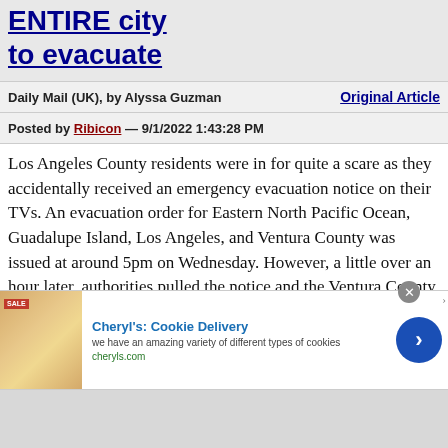ENTIRE city to evacuate
Daily Mail (UK), by Alyssa Guzman
Original Article
Posted by Ribicon — 9/1/2022 1:43:28 PM
Los Angeles County residents were in for quite a scare as they accidentally received an emergency evacuation notice on their TVs. An evacuation order for Eastern North Pacific Ocean, Guadalupe Island, Los Angeles, and Ventura County was issued at around 5pm on Wednesday. However, a little over an hour later, authorities pulled the notice and the Ventura County Sheriff's Office later announced it was 'sent in error by the County of Los Angeles.' 'There is no threat to Ventura County at this time and no need for residents to evacuate,' the Sheriff's Office
[Figure (screenshot): Advertisement for Cheryl's Cookie Delivery showing cookie image, ad title, description, and call-to-action button]